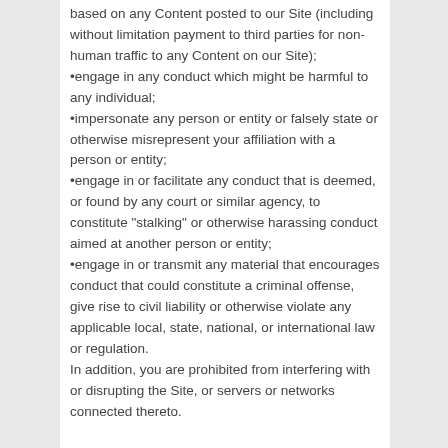based on any Content posted to our Site (including without limitation payment to third parties for non-human traffic to any Content on our Site);
•engage in any conduct which might be harmful to any individual;
•impersonate any person or entity or falsely state or otherwise misrepresent your affiliation with a person or entity;
•engage in or facilitate any conduct that is deemed, or found by any court or similar agency, to constitute "stalking" or otherwise harassing conduct aimed at another person or entity;
•engage in or transmit any material that encourages conduct that could constitute a criminal offense, give rise to civil liability or otherwise violate any applicable local, state, national, or international law or regulation.
In addition, you are prohibited from interfering with or disrupting the Site, or servers or networks connected thereto.